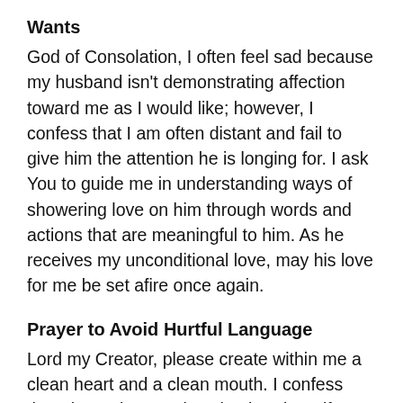Wants
God of Consolation, I often feel sad because my husband isn’t demonstrating affection toward me as I would like; however, I confess that I am often distant and fail to give him the attention he is longing for. I ask You to guide me in understanding ways of showering love on him through words and actions that are meaningful to him. As he receives my unconditional love, may his love for me be set afire once again.
Prayer to Avoid Hurtful Language
Lord my Creator, please create within me a clean heart and a clean mouth. I confess that I have damaged my husband’s self-